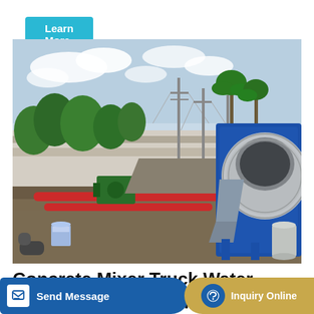Learn More
[Figure (photo): A concrete mixer truck pump machine with a large grey drum on a blue frame, red pipes on the ground extending to a small green engine, at a construction site with gravel, trees and utility poles in the background.]
Concrete Mixer Truck Water System Introduction
Send Message
pump
Inquiry Online